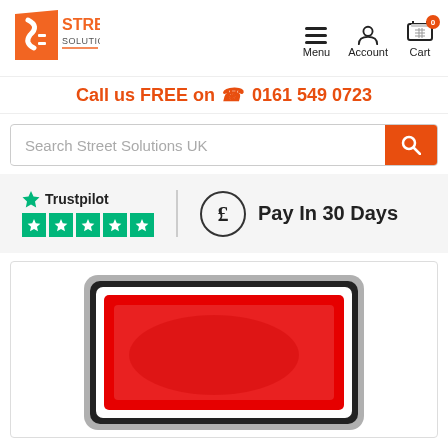[Figure (logo): Street Solutions UK logo with orange S-shaped road icon and orange text]
[Figure (infographic): Navigation icons: hamburger menu (Menu), person icon (Account), shopping cart with badge 0 (Cart)]
Call us FREE on 📞 0161 549 0723
[Figure (screenshot): Search bar with placeholder 'Search Street Solutions UK' and orange search button]
[Figure (infographic): Trustpilot 5-star rating badge and 'Pay In 30 Days' icon with pound circle]
[Figure (photo): Red road sign (blank red rectangle with white border and grey metal frame) product image]